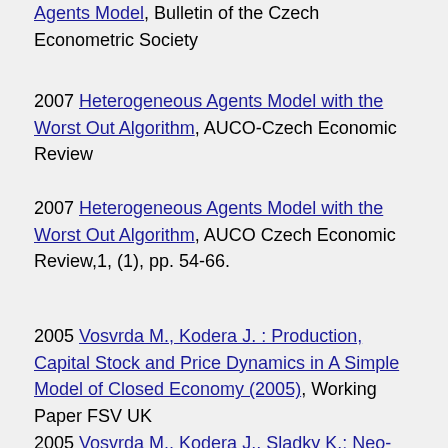Agents Model, Bulletin of the Czech Econometric Society
2007 Heterogeneous Agents Model with the Worst Out Algorithm, AUCO-Czech Economic Review
2007 Heterogeneous Agents Model with the Worst Out Algorithm, AUCO Czech Economic Review,1, (1), pp. 54-66.
2005 Vosvrda M., Kodera J. : Production, Capital Stock and Price Dynamics in A Simple Model of Closed Economy (2005), Working Paper FSV UK
2005 Vosvrda M., Kodera J., Sladky K.: Neo-Keynesian and Neo-Classical Macroeconomic Models:Stability and Lyapunov Exponents (2005),